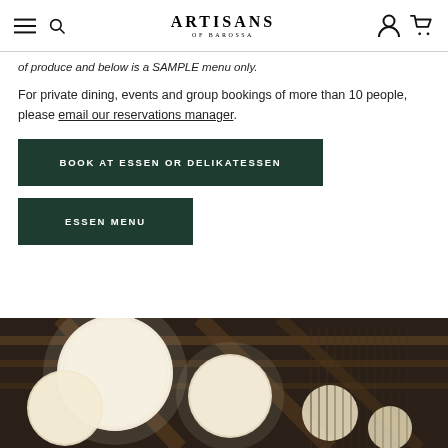Artisans of Barossa
of produce and below is a SAMPLE menu only.
For private dining, events and group bookings of more than 10 people, please email our reservations manager.
BOOK AT ESSEN OR DELIKATESSEN
ESSEN MENU
[Figure (photo): Interior photo of a restaurant ceiling with hanging round paper lanterns glowing warmly against dark wooden beams]